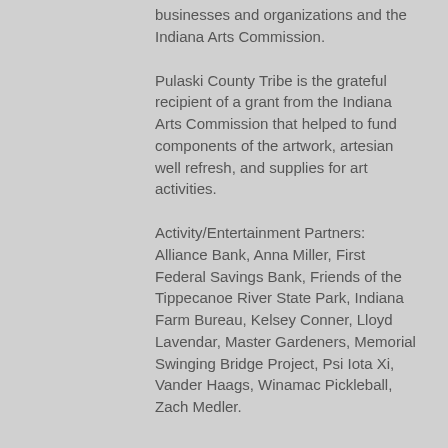businesses and organizations and the Indiana Arts Commission.
Pulaski County Tribe is the grateful recipient of a grant from the Indiana Arts Commission that helped to fund components of the artwork, artesian well refresh, and supplies for art activities.
Activity/Entertainment Partners: Alliance Bank, Anna Miller, First Federal Savings Bank, Friends of the Tippecanoe River State Park, Indiana Farm Bureau, Kelsey Conner, Lloyd Lavendar, Master Gardeners, Memorial Swinging Bridge Project, Psi Iota Xi, Vander Haags, Winamac Pickleball, Zach Medler.